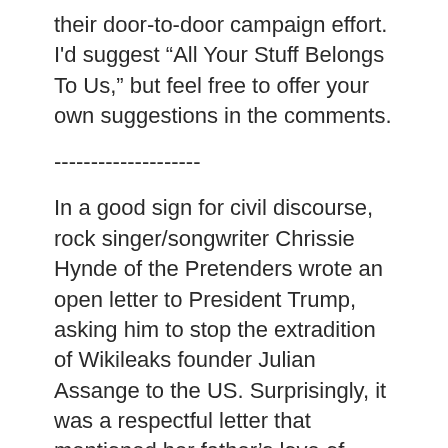their door-to-door campaign effort. I'd suggest “All Your Stuff Belongs To Us,” but feel free to offer your own suggestions in the comments.
--------------------
In a good sign for civil discourse, rock singer/songwriter Chrissie Hynde of the Pretenders wrote an open letter to President Trump, asking him to stop the extradition of Wikileaks founder Julian Assange to the US. Surprisingly, it was a respectful letter that mentioned her father’s love of Rush Limbaugh for her letting him use “My City Was Gone” as his show theme for a competition that